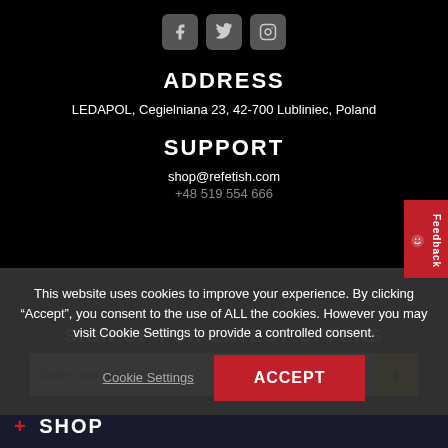[Figure (illustration): Three social media icons: Facebook, Twitter, Instagram — rounded square gray buttons]
ADDRESS
LEDAPOL, Cegielniana 23, 42-700 Lubliniec, Poland
SUPPORT
shop@refetish.com
+48 519 554 666
This website uses cookies to improve your experience. By clicking “Accept”, you consent to the use of ALL the cookies. However you may visit Cookie Settings to provide a controlled consent.
SIGN UP FOR LATEST OFFERS
Enter your email address
Cookie Settings
ACCEPT
+ SHOP